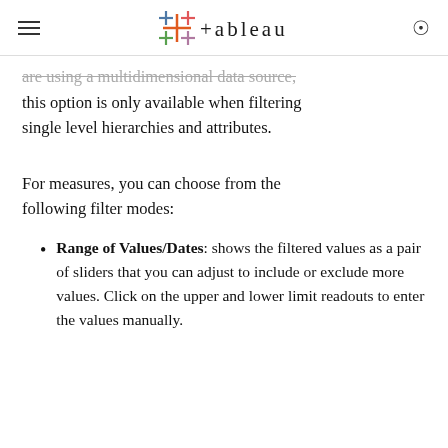tableau
are using a multidimensional data source, this option is only available when filtering single level hierarchies and attributes.
For measures, you can choose from the following filter modes:
Range of Values/Dates: shows the filtered values as a pair of sliders that you can adjust to include or exclude more values. Click on the upper and lower limit readouts to enter the values manually.